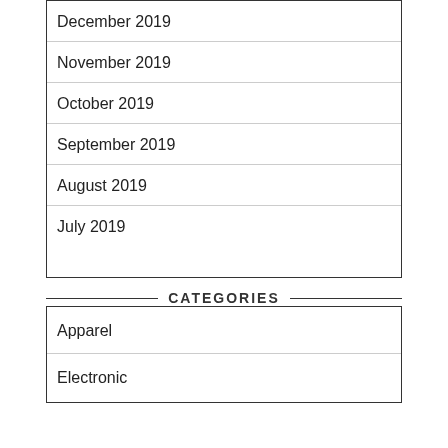December 2019
November 2019
October 2019
September 2019
August 2019
July 2019
CATEGORIES
Apparel
Electronic